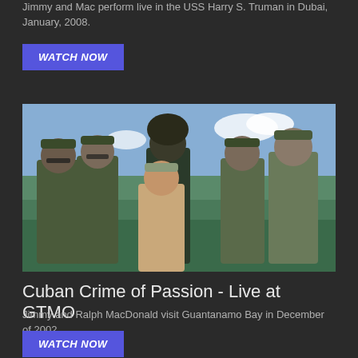Jimmy and Mac perform live in the USS Harry S. Truman in Dubai, January, 2008.
WATCH NOW
[Figure (photo): Group photo of five people in military camouflage uniforms and one person in civilian clothes (tan shirt and cap) posing outdoors near water with sky and vegetation in background.]
Cuban Crime of Passion - Live at GTMO
Jimmy and Ralph MacDonald visit Guantanamo Bay in December of 2002.
WATCH NOW